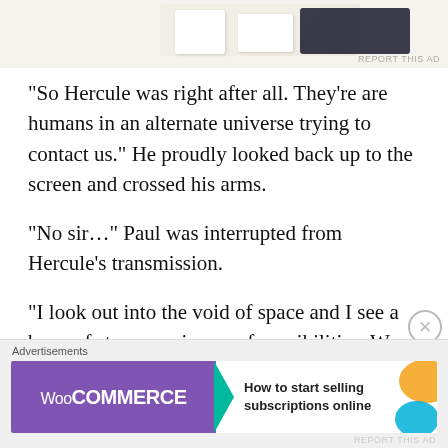[Figure (screenshot): Top advertisement banner showing a mobile app/document interface on a light beige background with 'REPORT THIS AD' label]
“So Hercule was right after all. They’re are humans in an alternate universe trying to contact us.” He proudly looked back up to the screen and crossed his arms.
“No sir…” Paul was interrupted from Hercule’s transmission.
“I look out into the void of space and I see a bevy of stars, a universe of possibilities. We stand on the brink of a new life. A life where we are not alone in the cosmos. We can have new neighbors and extend our knowledge of this space we live in. I proudly go where no man has gone
[Figure (screenshot): Bottom WooCommerce advertisement banner: purple left section with WooCommerce logo, teal arrow, white right section with text 'How to start selling subscriptions online', orange decorative blobs]